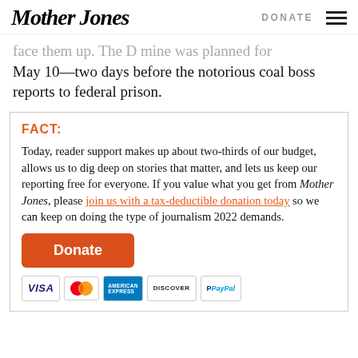Mother Jones | DONATE
face them up. The D mine was planned for May 10—two days before the notorious coal boss reports to federal prison.
FACT:
Today, reader support makes up about two-thirds of our budget, allows us to dig deep on stories that matter, and lets us keep our reporting free for everyone. If you value what you get from Mother Jones, please join us with a tax-deductible donation today so we can keep on doing the type of journalism 2022 demands.
Donate
[Figure (other): Payment method logos: VISA, Mastercard, American Express, Discover, PayPal]